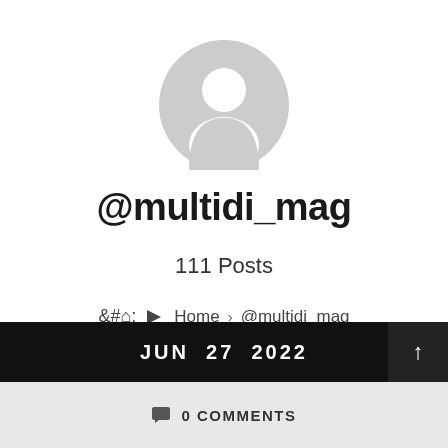[Figure (illustration): Generic user avatar icon — grey circle with silhouette of a person (head and shoulders), no face details, placeholder profile image]
@multidi_mag
111 Posts
🏠 Home › @multidi_mag
JUN 27 2022
0 COMMENTS